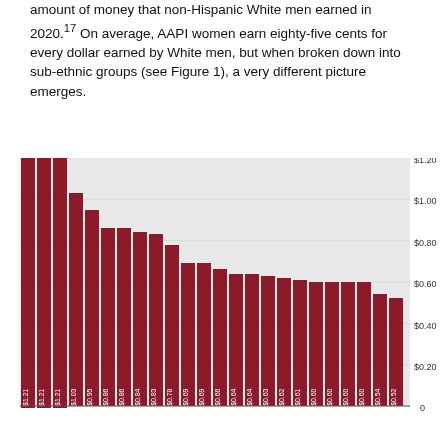amount of money that non-Hispanic White men earned in 2020.17 On average, AAPI women earn eighty-five cents for every dollar earned by White men, but when broken down into sub-ethnic groups (see Figure 1), a very different picture emerges.
[Figure (bar-chart): Earnings per dollar earned by White men]